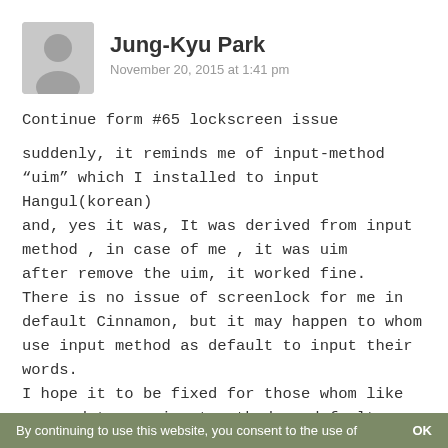[Figure (illustration): Gray avatar/profile placeholder icon]
Jung-Kyu Park
November 20, 2015 at 1:41 pm
Continue form #65 lockscreen issue
suddenly, it reminds me of input-method “uim” which I installed to input Hangul(korean)
and, yes it was, It was derived from input method , in case of me , it was uim
after remove the uim, it worked fine.
There is no issue of screenlock for me in default Cinnamon, but it may happen to whom use input method as default to input their words.
I hope it to be fixed for those whom like me need to use input method as default.
and, the shortcuts are still released with ease.
By continuing to use this website, you consent to the use of    OK